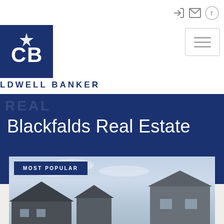[Figure (logo): Coldwell Banker logo — dark navy blue square with CB monogram and star]
LDWELL BANKER
Blackfalds Real Estate
MOST POPULAR
[Figure (photo): Photo of residential houses with rooftops visible against a cloudy sky]